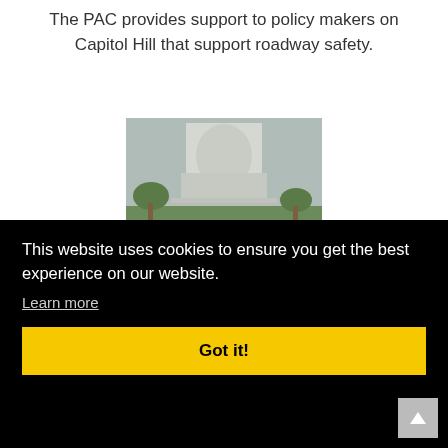The PAC provides support to policy makers on Capitol Hill that support roadway safety.
[Figure (photo): Two people (a woman and a man) smiling and standing in front of the U.S. Capitol building on the National Mall.]
This website uses cookies to ensure you get the best experience on our website.
Learn more
Got it!